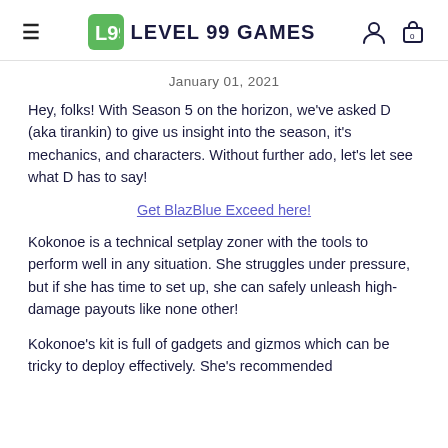Level 99 Games
January 01, 2021
Hey, folks! With Season 5 on the horizon, we've asked D (aka tirankin) to give us insight into the season, it's mechanics, and characters. Without further ado, let's let see what D has to say!
Get BlazBlue Exceed here!
Kokonoe is a technical setplay zoner with the tools to perform well in any situation. She struggles under pressure, but if she has time to set up, she can safely unleash high-damage payouts like none other!
Kokonoe's kit is full of gadgets and gizmos which can be tricky to deploy effectively. She's recommended